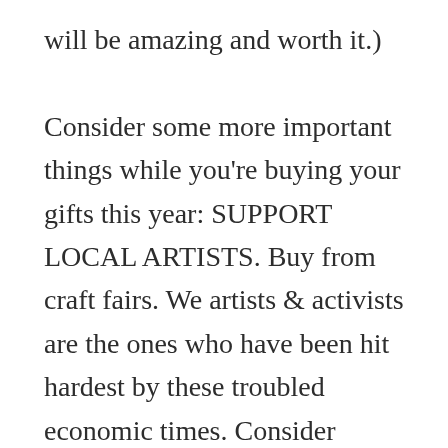will be amazing and worth it.) Consider some more important things while you're buying your gifts this year: SUPPORT LOCAL ARTISTS. Buy from craft fairs. We artists & activists are the ones who have been hit hardest by these troubled economic times. Consider doing your best to put your money back into the communities you love to keep them strong and thriving. Try to avoid shopping from Amazon (but if you do, follow links from your favorite websites who are Amazon affiliates – like me – before you check out